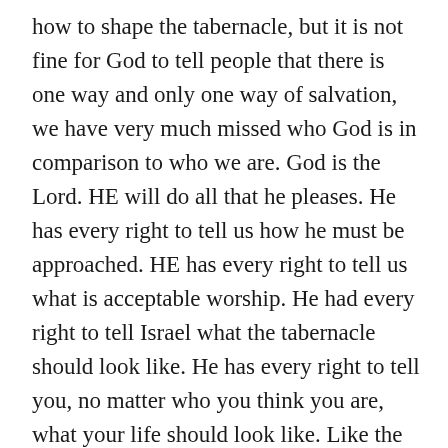how to shape the tabernacle, but it is not fine for God to tell people that there is one way and only one way of salvation, we have very much missed who God is in comparison to who we are. God is the Lord. HE will do all that he pleases. He has every right to tell us how he must be approached. HE has every right to tell us what is acceptable worship. He had every right to tell Israel what the tabernacle should look like. He has every right to tell you, no matter who you think you are, what your life should look like. Like the people of old, approach God in accord with his commands. If you seek to worship, do so in accord with the commands of holy Scripture. IF you seek salvation, come seeking God’s grace alone